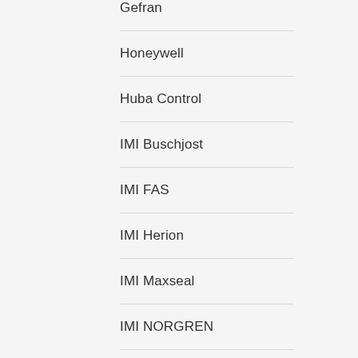Gefran
Honeywell
Huba Control
IMI Buschjost
IMI FAS
IMI Herion
IMI Maxseal
IMI NORGREN
Kritsnam Technologies
Kuebler
L&T Electrical & Automation